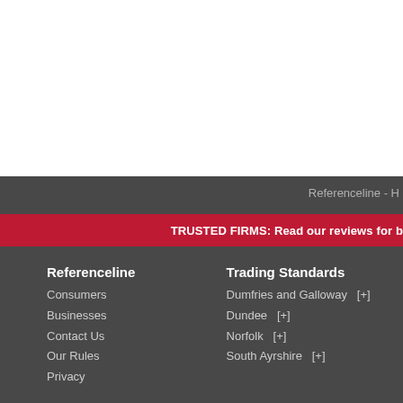Referenceline - H
TRUSTED FIRMS: Read our reviews for b
Referenceline
Consumers
Businesses
Contact Us
Our Rules
Privacy
Trading Standards
Dumfries and Galloway   [+]
Dundee   [+]
Norfolk   [+]
South Ayrshire   [+]